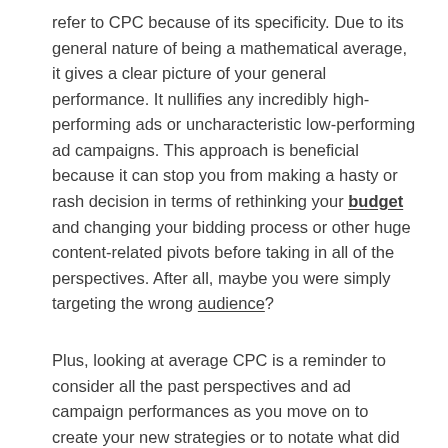refer to CPC because of its specificity. Due to its general nature of being a mathematical average, it gives a clear picture of your general performance. It nullifies any incredibly high-performing ads or uncharacteristic low-performing ad campaigns. This approach is beneficial because it can stop you from making a hasty or rash decision in terms of rethinking your budget and changing your bidding process or other huge content-related pivots before taking in all of the perspectives. After all, maybe you were simply targeting the wrong audience?
Plus, looking at average CPC is a reminder to consider all the past perspectives and ad campaign performances as you move on to create your new strategies or to notate what did or did not work for your team.